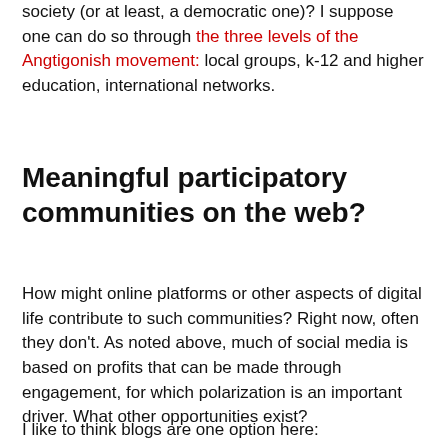society (or at least, a democratic one)? I suppose one can do so through the three levels of the Angtigonish movement: local groups, k-12 and higher education, international networks.
Meaningful participatory communities on the web?
How might online platforms or other aspects of digital life contribute to such communities? Right now, often they don't. As noted above, much of social media is based on profits that can be made through engagement, for which polarization is an important driver. What other opportunities exist?
I like to think blogs are one option here: